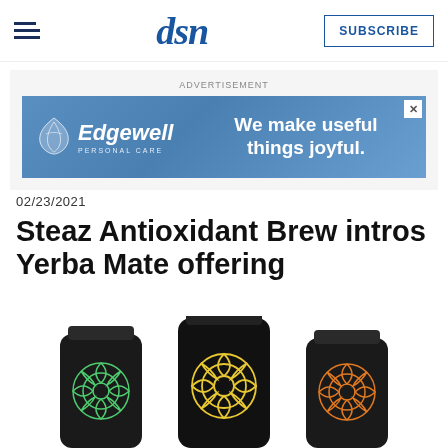dsn | SUBSCRIBE
[Figure (illustration): Advertisement banner for Edgewell Personal Care with text 'We make useful things joyful.']
ADVERTISEMENT
02/23/2021
Steaz Antioxidant Brew intros Yerba Mate offering
[Figure (photo): Three dark/black beverage cans with colorful floral/mandala designs — green, yellow, and orange patterns — on a white background.]